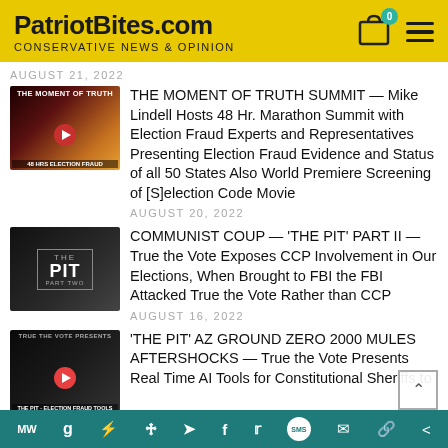PatriotBites.com CONSERVATIVE NEWS & OPINION
AUGUST 21, 2022
[Figure (photo): Thumbnail image for Moment of Truth Summit article]
THE MOMENT OF TRUTH SUMMIT — Mike Lindell Hosts 48 Hr. Marathon Summit with Election Fraud Experts and Representatives Presenting Election Fraud Evidence and Status of all 50 States Also World Premiere Screening of [S]election Code Movie
AUGUST 20, 2022
[Figure (photo): Thumbnail image for The Pit Part Two article showing dark background with 'THE PIT PART TWO' text]
COMMUNIST COUP — 'THE PIT' PART II — True the Vote Exposes CCP Involvement in Our Elections, When Brought to FBI the FBI Attacked True the Vote Rather than CCP
AUGUST 16, 2022
[Figure (photo): Thumbnail image for The Pit AZ Ground Zero article]
'THE PIT' AZ GROUND ZERO 2000 MULES AFTERSHOCKS — True the Vote Presents Real Time AI Tools for Constitutional Sheriffs to
MW g i P (arrow) f (twitter) SMS (mail) (link) (share)